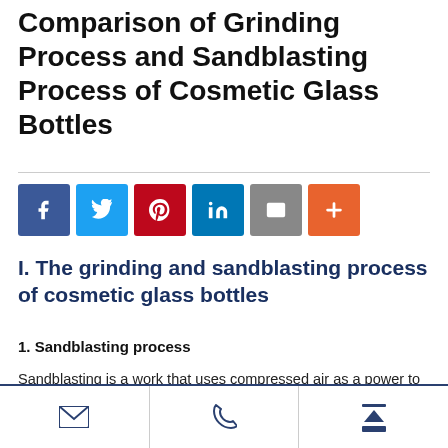Comparison of Grinding Process and Sandblasting Process of Cosmetic Glass Bottles
I. The grinding and sandblasting process of cosmetic glass bottles
1. Sandblasting process
Sandblasting is a work that uses compressed air as a power to push abrasives to the surface of the workpiece for processing. This is the so-called sandblasting, which is what we often call shot blasting.
Email | Phone | Scroll-to-top